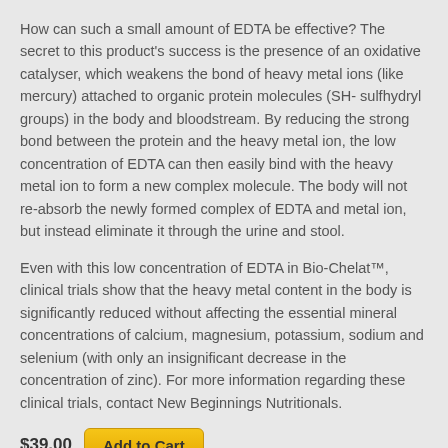How can such a small amount of EDTA be effective? The secret to this product's success is the presence of an oxidative catalyser, which weakens the bond of heavy metal ions (like mercury) attached to organic protein molecules (SH- sulfhydryl groups) in the body and bloodstream. By reducing the strong bond between the protein and the heavy metal ion, the low concentration of EDTA can then easily bind with the heavy metal ion to form a new complex molecule. The body will not re-absorb the newly formed complex of EDTA and metal ion, but instead eliminate it through the urine and stool.
Even with this low concentration of EDTA in Bio-Chelat™, clinical trials show that the heavy metal content in the body is significantly reduced without affecting the essential mineral concentrations of calcium, magnesium, potassium, sodium and selenium (with only an insignificant decrease in the concentration of zinc). For more information regarding these clinical trials, contact New Beginnings Nutritionals.
$39.00  Add to Cart
Suggested Dosage: